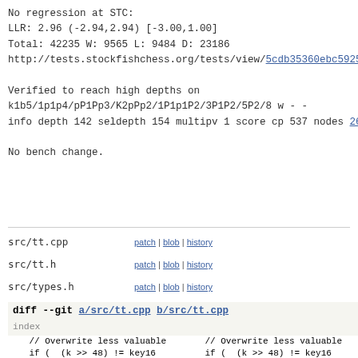No regression at STC:
LLR: 2.96 (-2.94,2.94) [-3.00,1.00]
Total: 42235 W: 9565 L: 9484 D: 23186
http://tests.stockfishchess.org/tests/view/5cdb35360ebc5925...

Verified to reach high depths on
k1b5/1p1p4/pP1Pp3/K2pPp2/1P1p1P2/3P1P2/5P2/8 w - -
info depth 142 seldepth 154 multipv 1 score cp 537 nodes 267...

No bench change.
| File | Links |
| --- | --- |
| src/tt.cpp | patch | blob | history |
| src/tt.h | patch | blob | history |
| src/types.h | patch | blob | history |
diff --git a/src/tt.cpp b/src/tt.cpp
index 33768ca4117d099e8fc0a46284a14ea803c60195..b8fe7567c569a6a3d6... 100644 (file)
--- a/src/tt.cpp
+++ b/src/tt.cpp
@@ -43,14 +43,15 @@ void TTEntry::save(Key k, Value v, bool...
// Overwrite less valuable    // Overwrite less valuable
    if (  (k >> 48) != key16    if (  (k >> 48) != key16
-         || d / ONE_PLY > depth+         || d / ONE_PLY + 10 >
         || b == BOUND_EXACT)          || b == BOUND_EXACT)
    {                                 {